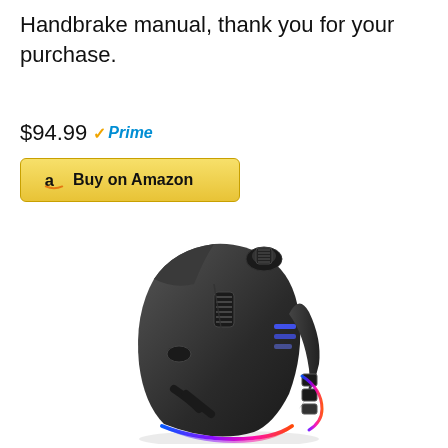Handbrake manual, thank you for your purchase.
$94.99 Prime
[Figure (other): Buy on Amazon button with Amazon logo and Prime badge]
[Figure (photo): Vertical ergonomic gaming mouse with RGB lighting, scroll wheel on top, side buttons, and glowing base]